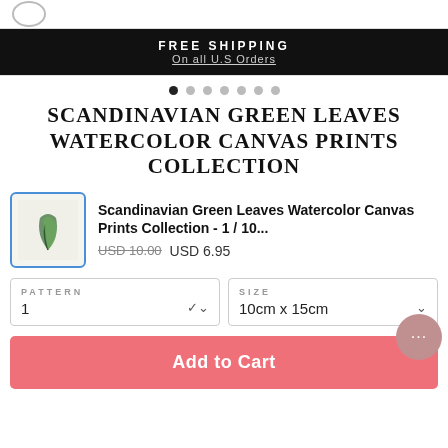FREE SHIPPING
On all U.S Orders
[Figure (other): Slider navigation dots, 7 dots with first active]
SCANDINAVIAN GREEN LEAVES WATERCOLOR CANVAS PRINTS COLLECTION
[Figure (photo): Small thumbnail image of Scandinavian green leaves watercolor print]
Scandinavian Green Leaves Watercolor Canvas Prints Collection - 1 / 10...
USD 10.00  USD 6.95
PATTERN
1
SIZE
10cm x 15cm
Add to Cart